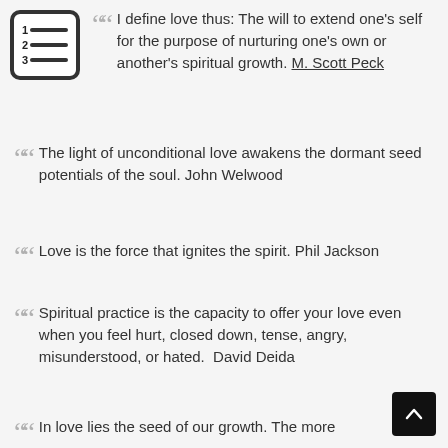[Figure (other): Numbered list icon — a small square icon with lines representing a numbered list, bordered box]
I define love thus: The will to extend one’s self for the purpose of nurturing one’s own or another’s spiritual growth. M. Scott Peck
The light of unconditional love awakens the dormant seed potentials of the soul. John Welwood
Love is the force that ignites the spirit. Phil Jackson
Spiritual practice is the capacity to offer your love even when you feel hurt, closed down, tense, angry, misunderstood, or hated. David Deida
In love lies the seed of our growth. The more